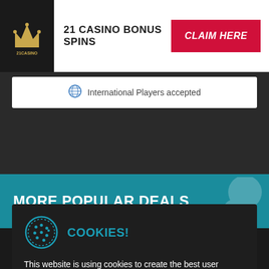[Figure (logo): 21 Casino logo — dark background with gold crown icon]
21 CASINO BONUS SPINS
CLAIM HERE
International Players accepted
MORE POPULAR DEALS
[Figure (illustration): Cookie icon — circular dotted cookie outline in teal]
COOKIES!
This website is using cookies to create the best user experience for you. Once you are using our website, you are giving consent to the usage of those cookies.
OK!